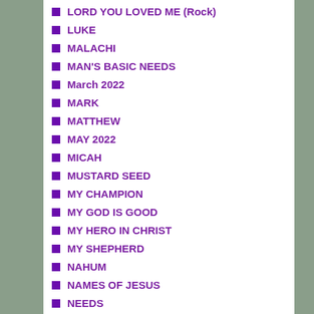LORD YOU LOVED ME (Rock)
LUKE
MALACHI
MAN'S BASIC NEEDS
March 2022
MARK
MATTHEW
MAY 2022
MICAH
MUSTARD SEED
MY CHAMPION
MY GOD IS GOOD
MY HERO IN CHRIST
MY SHEPHERD
NAHUM
NAMES OF JESUS
NEEDS
NEEDS FULFILLED
NEHEMIAH
NEVER GOING BACK AGAIN
NO MORE TEARS
NO SAFER PLACE